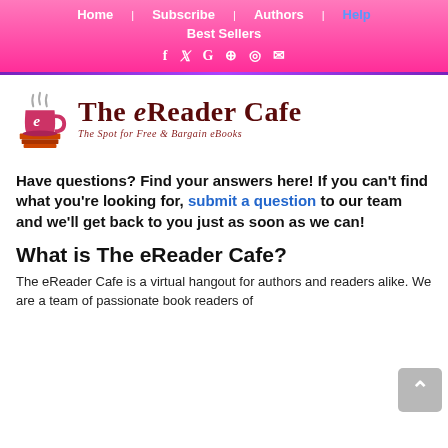Home | Subscribe | Authors | Help | Best Sellers
[Figure (logo): The eReader Cafe logo with a steaming coffee cup on a stack of books. Text reads: The eReader Cafe - The Spot for Free & Bargain eBooks]
Have questions? Find your answers here! If you can't find what you're looking for, submit a question to our team and we'll get back to you just as soon as we can!
What is The eReader Cafe?
The eReader Cafe is a virtual hangout for authors and readers alike. We are a team of passionate book readers of